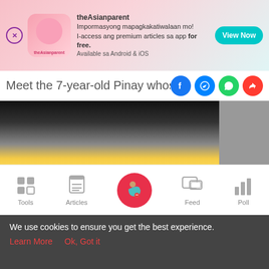[Figure (screenshot): theAsianparent app advertisement banner with pink gradient background, app logo, and teal View Now button]
Meet the 7-year-old Pinay whose Tay...
[Figure (photo): Partial photo showing yellow clothing, partially obscured by black overlay on right side]
View more on Ins >
We can't wait who next!
[Figure (screenshot): Bottom navigation bar with Tools, Articles, centered pregnant woman icon (pink circle), Feed, and Poll icons]
We use cookies to ensure you get the best experience.
Learn More   Ok, Got it